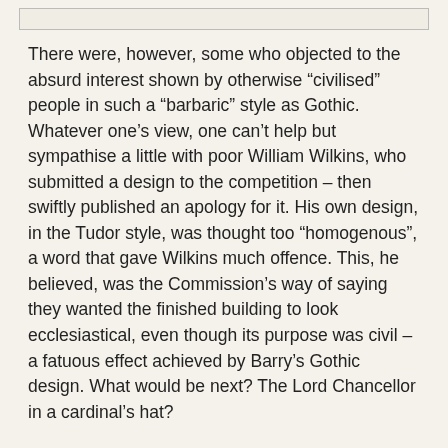[Figure (other): Thin rectangular box at top of page, likely a partial image or decorative element]
There were, however, some who objected to the absurd interest shown by otherwise “civilised” people in such a “barbaric” style as Gothic. Whatever one’s view, one can’t help but sympathise a little with poor William Wilkins, who submitted a design to the competition – then swiftly published an apology for it. His own design, in the Tudor style, was thought too “homogenous”, a word that gave Wilkins much offence. This, he believed, was the Commission’s way of saying they wanted the finished building to look ecclesiastical, even though its purpose was civil – a fatuous effect achieved by Barry’s Gothic design. What would be next? The Lord Chancellor in a cardinal’s hat?
Wilkins’s “Apology” pamphlet was a veiled personal attack on Edward Cust, who sat on the Committee, and on other “amateurs” whose smattering of learning gave them pretensions. It’s an impressively dyspeptic document; every word drips with sarcastic ire. In fact, the rebuilding of the Houses of Parliament was a long and